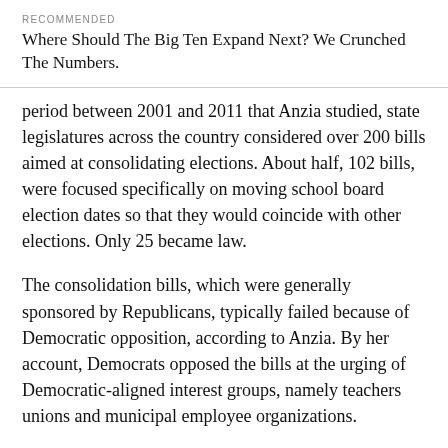RECOMMENDED
Where Should The Big Ten Expand Next? We Crunched The Numbers.
period between 2001 and 2011 that Anzia studied, state legislatures across the country considered over 200 bills aimed at consolidating elections. About half, 102 bills, were focused specifically on moving school board election dates so that they would coincide with other elections. Only 25 became law.
The consolidation bills, which were generally sponsored by Republicans, typically failed because of Democratic opposition, according to Anzia. By her account, Democrats opposed the bills at the urging of Democratic-aligned interest groups, namely teachers unions and municipal employee organizations.
Consider a 2011 bill in Michigan to move school board elections to November of even-numbered years